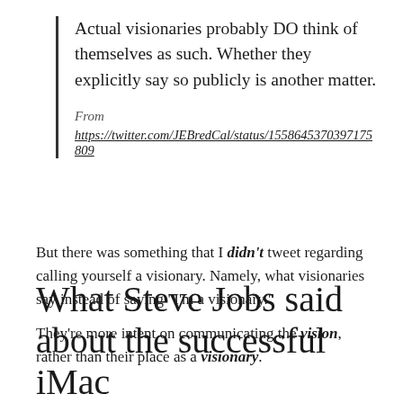Actual visionaries probably DO think of themselves as such. Whether they explicitly say so publicly is another matter.
From
https://twitter.com/JEBredCal/status/1558645370397175809
But there was something that I didn't tweet regarding calling yourself a visionary. Namely, what visionaries say instead of saying “I’m a visionary.”
They’re more intent on communicating the vision, rather than their place as a visionary.
What Steve Jobs said about the successful iMac